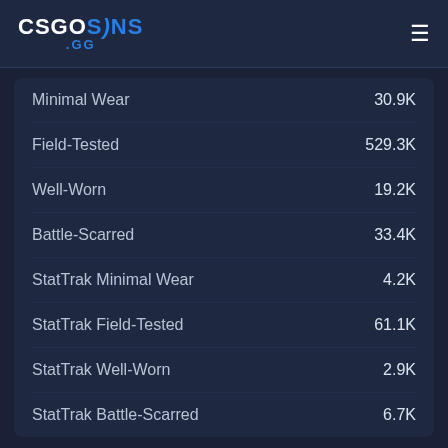CSGOSKINS .GG
| Wear Type | Count |
| --- | --- |
| Minimal Wear | 30.9K |
| Field-Tested | 529.3K |
| Well-Worn | 19.2K |
| Battle-Scarred | 33.4K |
| StatTrak Minimal Wear | 4.2K |
| StatTrak Field-Tested | 61.1K |
| StatTrak Well-Worn | 2.9K |
| StatTrak Battle-Scarred | 6.7K |
Containers